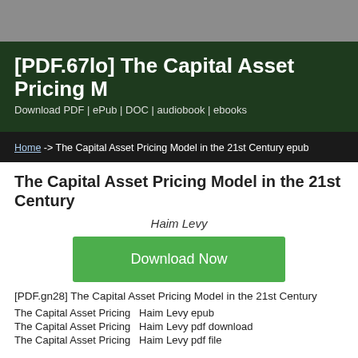[PDF.67lo] The Capital Asset Pricing M
Download PDF | ePub | DOC | audiobook | ebooks
Home -> The Capital Asset Pricing Model in the 21st Century epub
The Capital Asset Pricing Model in the 21st Century
Haim Levy
[Figure (other): Green Download Now button]
[PDF.gn28] The Capital Asset Pricing Model in the 21st Century
The Capital Asset Pricing  Haim Levy epub
The Capital Asset Pricing  Haim Levy pdf download
The Capital Asset Pricing  Haim Levy pdf file